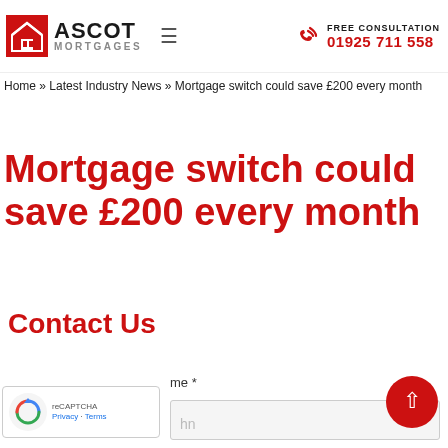[Figure (logo): Ascot Mortgages logo with red house icon, ASCOT in bold black, MORTGAGES in grey, hamburger menu icon, phone icon in red, FREE CONSULTATION text and phone number 01925 711 558 in red]
Home » Latest Industry News » Mortgage switch could save £200 every month
Mortgage switch could save £200 every month
Contact Us
me *
hn